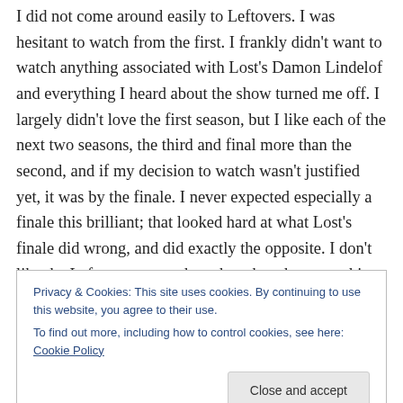I did not come around easily to Leftovers. I was hesitant to watch from the first. I frankly didn't want to watch anything associated with Lost's Damon Lindelof and everything I heard about the show turned me off. I largely didn't love the first season, but I like each of the next two seasons, the third and final more than the second, and if my decision to watch wasn't justified yet, it was by the finale. I never expected especially a finale this brilliant; that looked hard at what Lost's finale did wrong, and did exactly the opposite. I don't like the Leftovers as much as the other shows on this list, but its finale was likely the best episode
Privacy & Cookies: This site uses cookies. By continuing to use this website, you agree to their use.
To find out more, including how to control cookies, see here: Cookie Policy
Close and accept
ction the world highlighted by criticism and a